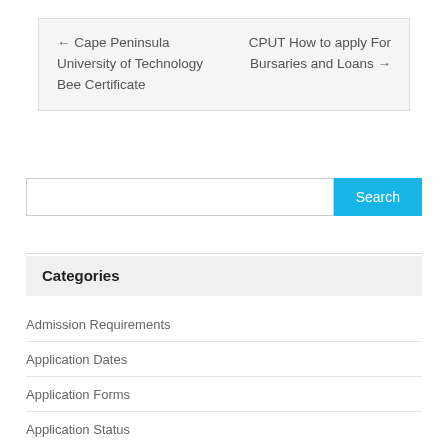← Cape Peninsula University of Technology Bee Certificate
CPUT How to apply For Bursaries and Loans →
Search
Categories
Admission Requirements
Application Dates
Application Forms
Application Status